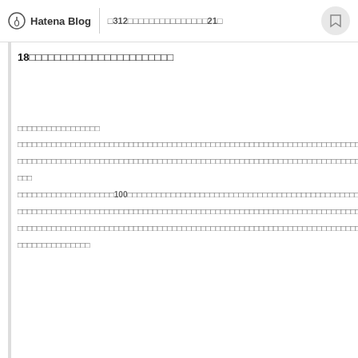Hatena Blog | □312□□□□□□□□□□□□□□□21□
18□□□□□□□□□□□□□□□□□□□□□□
□□□□□□□□□□□□□□□□□
□□□□□□□□□□□□□□□□□□□□□□□□□□□□□□□□□□□□□□□□□□□□□□□□□)□□□□□□□□□□□□□□□□□□□□□□□□□□□□□□□□□□□□□□
□□□□□□□□□□□□□□□□□□□□□□□□□□□□□□□□□□□□□□□□□□□□□□□□□□□□□□□□□□□□□□□□□□□□□□□□□□□□□□□□□□□□□□□□□□□□□□□□□□□□□□□□□□□□□□□□□□□□□□□□□□□□□□□□□□□□□□□□□□□□□□□□□□□□□□□□□□
□□□
□□□□□□□□□□□□□□□□□□□□100□□□□□□□□□□□□□□□□□□□□□□□□□□□□□□□□□□□□□□□□□□□□□□□□□□□□□□□□□□
□□□□□□□□□□□□□□□□□□□□□□□□□□□□□□□□□□□□□□□□□□□□□□□□□□□□□□□□□□□□□□□□□□□□□□□□□□□□□□□□□□□□□□□□□□□□□□□□□□□□□□□□□□□□□□□□□□□□□□□□□□□
□□□□□□□□□□□□□□□□□□□□□□□□□□□□□□□□□□□□□□□□□□□□□□□□□□□□□□□□□□□□□□□□□□□□□□□□□□□□□□□□□□□□□□□□□□□□□□□□□□□□□□□□□□□□□□□□□□□□□
□□□□□□□□□□□□□□□